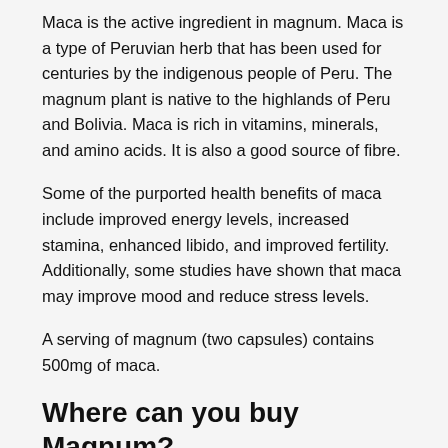Maca is the active ingredient in magnum. Maca is a type of Peruvian herb that has been used for centuries by the indigenous people of Peru. The magnum plant is native to the highlands of Peru and Bolivia. Maca is rich in vitamins, minerals, and amino acids. It is also a good source of fibre.
Some of the purported health benefits of maca include improved energy levels, increased stamina, enhanced libido, and improved fertility. Additionally, some studies have shown that maca may improve mood and reduce stress levels.
A serving of magnum (two capsules) contains 500mg of maca.
Where can you buy Magnum?
You can buy magnum at most grocery stores. You can also find magnum online. If you live in the United Kingdom and are looking for a reliable and reputable online grocery store where you can get a magnum-related product, then visit us at nivis.co.uk. We are an African and Caribbean online grocery